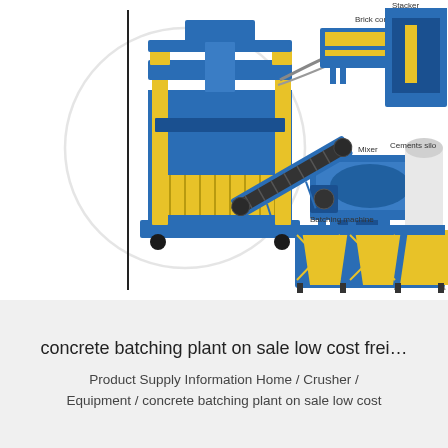[Figure (illustration): Product illustration showing a concrete batching plant and associated equipment: a large blue and yellow block-making press machine (center-left with a circular watermark), brick conveyer (top center-right), stacker (top right), mixer (middle right), cement silo (right), conveyor belt (bottom center), and batching machine (bottom right). Each component is labeled with small text.]
concrete batching plant on sale low cost frei…
Product Supply Information Home / Crusher / Equipment / concrete batching plant on sale low cost